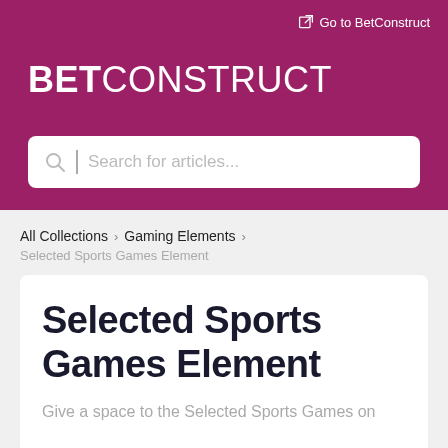Go to BetConstruct
BETCONSTRUCT
Search for articles...
All Collections > Gaming Elements > Selected Sports Games Element
Selected Sports Games Element
Give a space to the Selected Sports Games on